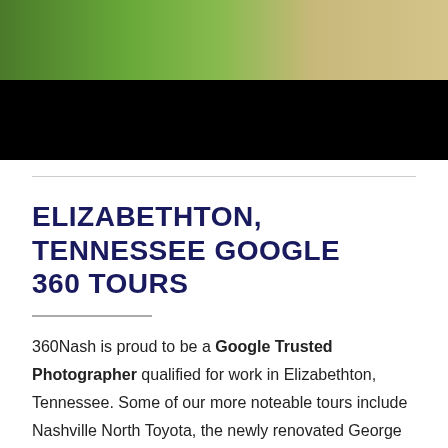[Figure (photo): Top portion of an outdoor photo showing green grass and a sandy/beige pathway, with a black band at the bottom of the image area.]
ELIZABETHTON, TENNESSEE GOOGLE 360 TOURS
360Nash is proud to be a Google Trusted Photographer qualified for work in Elizabethton, Tennessee. Some of our more noteable tours include Nashville North Toyota, the newly renovated George Jones Museum, and iNetCo. We usually shoot the tour in an afternoon or a